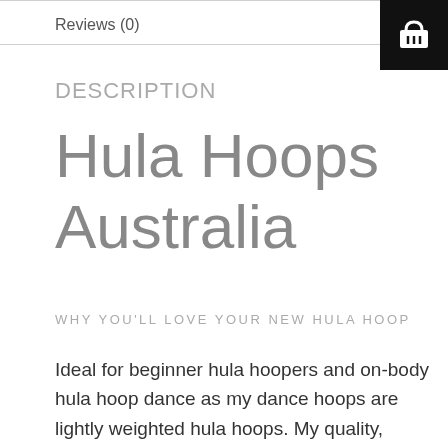Reviews (0)
DESCRIPTION
Hula Hoops Australia
WHY YOU'LL LOVE YOUR NEW HULA HOOP
Ideal for beginner hula hoopers and on-body hula hoop dance as my dance hoops are lightly weighted hula hoops. My quality, durable dance hula hoops with grip tape hand made and hand crafted in Sydney Australia. This shiney dance hula hoop will make you jump out of your chair and get your hoop moves on! Hula hoop